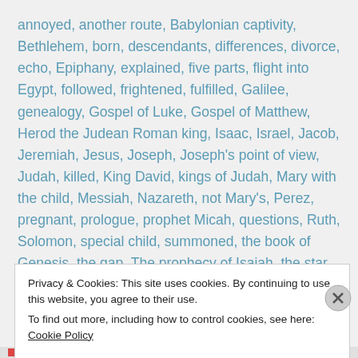annoyed, another route, Babylonian captivity, Bethlehem, born, descendants, differences, divorce, echo, Epiphany, explained, five parts, flight into Egypt, followed, frightened, fulfilled, Galilee, genealogy, Gospel of Luke, Gospel of Matthew, Herod the Judean Roman king, Isaac, Israel, Jacob, Jeremiah, Jesus, Joseph, Joseph's point of view, Judah, killed, King David, kings of Judah, Mary with the child, Messiah, Nazareth, not Mary's, Perez, pregnant, prologue, prophet Micah, questions, Ruth, Solomon, special child, summoned, the book of Genesis, the gap, The prophecy of Isaiah, the star, twin sons, under two-year old boys, unique perspective,
Privacy & Cookies: This site uses cookies. By continuing to use this website, you agree to their use.
To find out more, including how to control cookies, see here: Cookie Policy
Close and accept